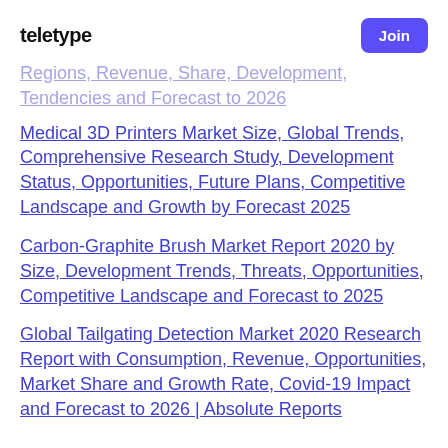TELETYPE
Regions, Revenue, Share, Development, Tendencies and Forecast to 2026
Medical 3D Printers Market Size, Global Trends, Comprehensive Research Study, Development Status, Opportunities, Future Plans, Competitive Landscape and Growth by Forecast 2025
Carbon-Graphite Brush Market Report 2020 by Size, Development Trends, Threats, Opportunities, Competitive Landscape and Forecast to 2025
Global Tailgating Detection Market 2020 Research Report with Consumption, Revenue, Opportunities, Market Share and Growth Rate, Covid-19 Impact and Forecast to 2026 | Absolute Reports